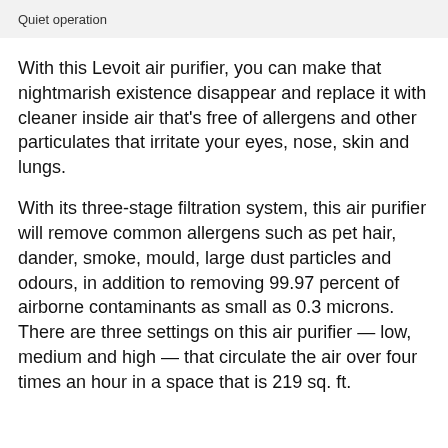Quiet operation
With this Levoit air purifier, you can make that nightmarish existence disappear and replace it with cleaner inside air that’s free of allergens and other particulates that irritate your eyes, nose, skin and lungs.
With its three-stage filtration system, this air purifier will remove common allergens such as pet hair, dander, smoke, mould, large dust particles and odours, in addition to removing 99.97 percent of airborne contaminants as small as 0.3 microns. There are three settings on this air purifier — low, medium and high — that circulate the air over four times an hour in a space that is 219 sq. ft.